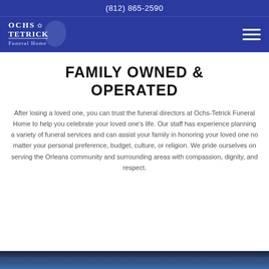(812) 865-2590
[Figure (logo): Ochs Tetrick Funeral Home logo — white text on dark blue background with decorative floral motif]
FAMILY OWNED & OPERATED
After losing a loved one, you can trust the funeral directors at Ochs-Tetrick Funeral Home to help you celebrate your loved one's life. Our staff has experience planning a variety of funeral services and can assist your family in honoring your loved one no matter your personal preference, budget, culture, or religion. We pride ourselves on serving the Orleans community and surrounding areas with compassion, dignity, and respect.
[Figure (photo): Partial photo visible at bottom edge of page, dark tones suggesting an interior or outdoor funeral home setting]